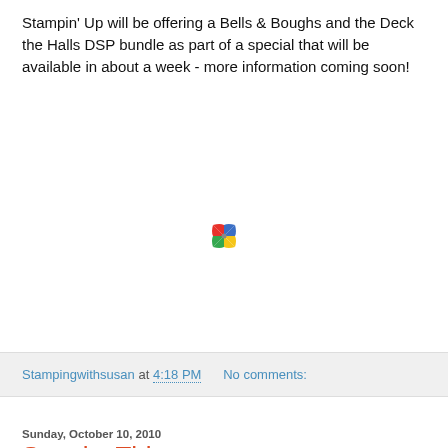Stampin' Up will be offering a Bells & Boughs and the Deck the Halls DSP bundle as part of a special that will be available in about a week - more information coming soon!
[Figure (logo): Pinwheel/windmill style colorful icon with four quadrants in red, green, blue, and yellow]
Stampingwithsusan at 4:18 PM    No comments:
Sunday, October 10, 2010
Spooky Things
With the exception of carving pumpkins, I usually do not decorate much for Halloween. But when I saw these the Spooky Things and Black Flourish Designer Jewels at Convention, I knew that I would be decorating this year! All of the Stampin' Up! product is from the Holiday Mini Catalog.
I just loved the idea of decorating white pumpkins! This project was a stage presentation. The person demonstrating